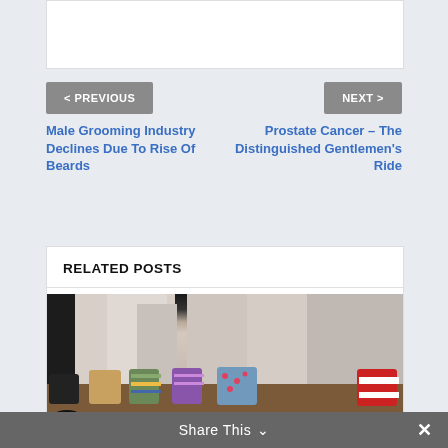[Figure (other): White content box top portion, partially visible]
< PREVIOUS
NEXT >
Male Grooming Industry Declines Due To Rise Of Beards
Prostate Cancer – The Distinguished Gentlemen's Ride
RELATED POSTS
[Figure (photo): Photo of men's feet wearing colorful patterned socks and dress shoes lined up in a row]
Share This